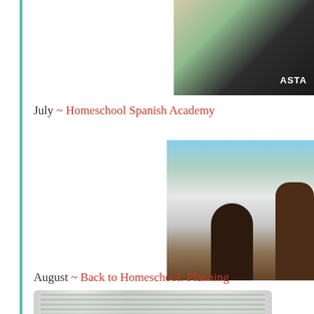[Figure (photo): Photo showing a green chair and person wearing jacket with text 'ASTA', top right of page]
July ~ Homeschool Spanish Academy
[Figure (photo): Outdoor photo of children playing, suburban background with fence and playground equipment, right side of page]
August ~ Back to Homeschool: Planning
[Figure (photo): Indoor photo showing what appears to be blinds or a window, bottom of page]